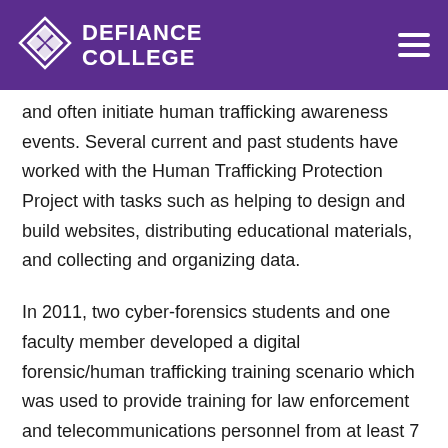DEFIANCE COLLEGE
and often initiate human trafficking awareness events. Several current and past students have worked with the Human Trafficking Protection Project with tasks such as helping to design and build websites, distributing educational materials, and collecting and organizing data.
In 2011, two cyber-forensics students and one faculty member developed a digital forensic/human trafficking training scenario which was used to provide training for law enforcement and telecommunications personnel from at least 7 different countries in Doha, Qatar.
In another project, students have